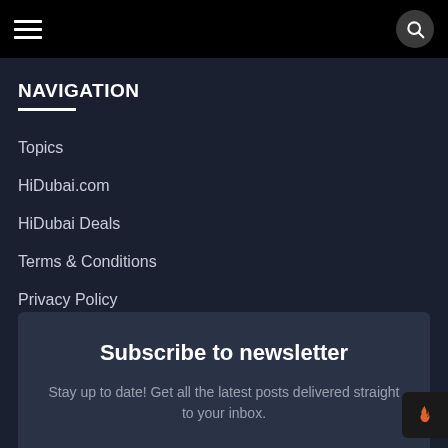Navigation menu bar with hamburger icon and search button
NAVIGATION
Topics
HiDubai.com
HiDubai Deals
Terms & Conditions
Privacy Policy
Subscribe to newsletter
Stay up to date! Get all the latest posts delivered straight to your inbox.